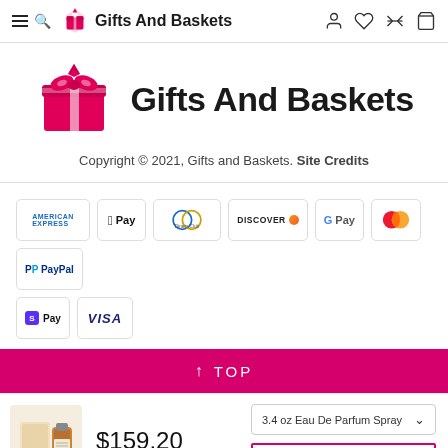Gifts And Baskets - navigation bar
[Figure (logo): Gifts And Baskets logo with gift box icon and brand name]
Copyright © 2021, Gifts and Baskets. Site Credits
[Figure (infographic): Payment method badges: American Express, Apple Pay, Diners Club, Discover, Google Pay, Mastercard, PayPal, Shop Pay, Visa]
↑ TOP
[Figure (photo): Product image - perfume bottle]
$159.20
3.4 oz Eau De Parfum Spray
ADD TO CART